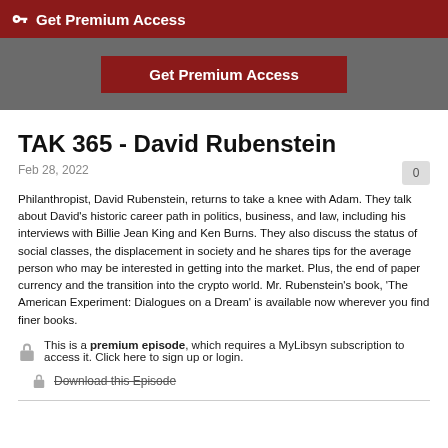🔑 Get Premium Access
[Figure (other): Gray banner with red 'Get Premium Access' button]
TAK 365 - David Rubenstein
Feb 28, 2022
Philanthropist, David Rubenstein, returns to take a knee with Adam. They talk about David's historic career path in politics, business, and law, including his interviews with Billie Jean King and Ken Burns. They also discuss the status of social classes, the displacement in society and he shares tips for the average person who may be interested in getting into the market. Plus, the end of paper currency and the transition into the crypto world. Mr. Rubenstein's book, 'The American Experiment: Dialogues on a Dream' is available now wherever you find finer books.
This is a premium episode, which requires a MyLibsyn subscription to access it. Click here to sign up or login.
Download this Episode